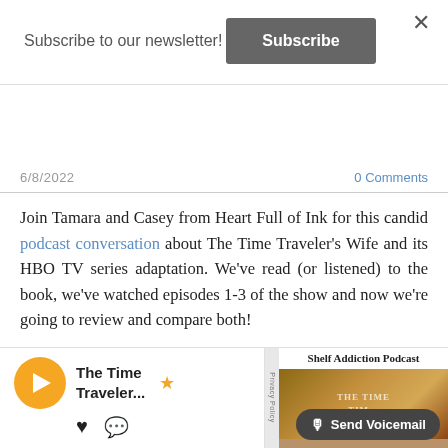Subscribe to our newsletter!
Subscribe
6/8/2022
0 Comments
Join Tamara and Casey from Heart Full of Ink for this candid podcast conversation about The Time Traveler's Wife and its HBO TV series adaptation. We've read (or listened) to the book, we've watched episodes 1-3 of the show and now we're going to review and compare both!
Did you love it or hate it? Did you like the book or the TV show better? Share your comments below and let us know what you thought of the podcast reaction.
[Figure (screenshot): Podcast player embed showing The Time Traveler... episode with orange play button, star icon, heart and comment icons, alongside a Shelf Addiction Podcast image with a book cover and a dark Send Voicemail button]